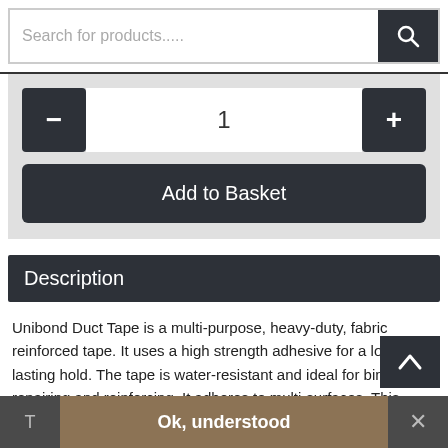[Figure (screenshot): Search bar with placeholder text 'Search for products.....' and a dark search button with magnifying glass icon]
[Figure (screenshot): Quantity selector with minus and plus dark buttons, quantity display showing '1', and 'Add to Basket' dark button below]
Description
Unibond Duct Tape is a multi-purpose, heavy-duty, fabric reinforced tape. It uses a high strength adhesive for a long-lasting hold. The tape is water-resistant and ideal for binding, repairing and reinforcing. It adheres to multi-surfaces. This heavy-duty adhesive tape has hundreds of uses around the home, car and garden and is suitable for both interior and
[Figure (screenshot): Bottom cookie/notification bar with 'T' on left, 'Ok, understood' button in center (brownish background), and 'x' close button on right]